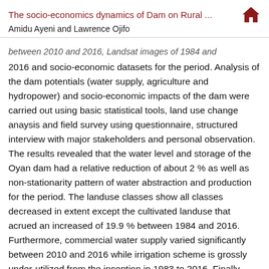The socio-economics dynamics of Dam on Rural ... Amidu Ayeni and Lawrence Ojifo
between 2010 and 2016, Landsat images of 1984 and 2016 and socio-economic datasets for the period. Analysis of the dam potentials (water supply, agriculture and hydropower) and socio-economic impacts of the dam were carried out using basic statistical tools, land use change anaysis and field survey using questionnaire, structured interview with major stakeholders and personal observation. The results revealed that the water level and storage of the Oyan dam had a relative reduction of about 2 % as well as non-stationarity pattern of water abstraction and production for the period. The landuse classes show all classes decreased in extent except the cultivated landuse that acrued an increased of 19.9 % between 1984 and 2016. Furthermore, commercial water supply varied significantly between 2010 and 2016 while irrigation scheme is grossly under-utilized from the inception in 1983 to 2016. Finally,